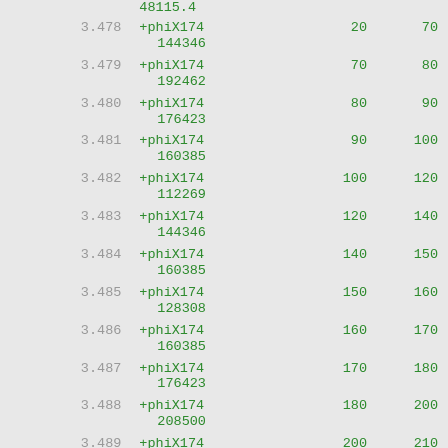| index | name | start | end |
| --- | --- | --- | --- |
|  | 48115.4 |  |  |
| 3.478 | +phiX174
144346 | 20 | 70 |
| 3.479 | +phiX174
192462 | 70 | 80 |
| 3.480 | +phiX174
176423 | 80 | 90 |
| 3.481 | +phiX174
160385 | 90 | 100 |
| 3.482 | +phiX174
112269 | 100 | 120 |
| 3.483 | +phiX174
144346 | 120 | 140 |
| 3.484 | +phiX174
160385 | 140 | 150 |
| 3.485 | +phiX174
128308 | 150 | 160 |
| 3.486 | +phiX174
160385 | 160 | 170 |
| 3.487 | +phiX174
176423 | 170 | 180 |
| 3.488 | +phiX174
208500 | 180 | 200 |
| 3.489 | +phiX174
192462 | 200 | 210 |
| 3.490 | +phiX174
240577 | 210 | 220 |
| 3.491 | +phiX174
272654 | 220 | 230 |
| 3.492 | +phiX174
304731 | 230 | 240 |